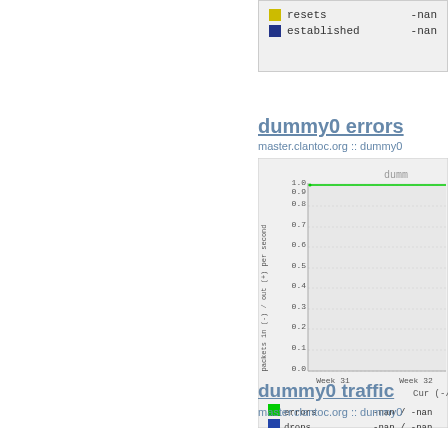[Figure (other): Partial legend box showing 'resets' and 'established' entries with -nan values]
dummy0 errors
master.clantoc.org :: dummy0
[Figure (line-chart): Line chart showing errors at 1.0 and drops/collisions at 0.0 from Week 31 to Week 32]
errors   -nan /  -nan
drops    -nan /  -nan
collisions   -nan
dummy0 traffic
master.clantoc.org :: dummy0